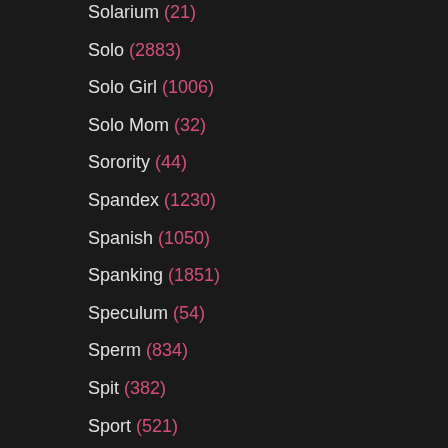Solarium (21)
Solo (2883)
Solo Girl (1006)
Solo Mom (32)
Sorority (44)
Spandex (1230)
Spanish (1050)
Spanking (1851)
Speculum (54)
Sperm (834)
Spit (382)
Sport (521)
Spring Break (24)
Spy Cam (354)
Spying (919)
Squirting (3635)